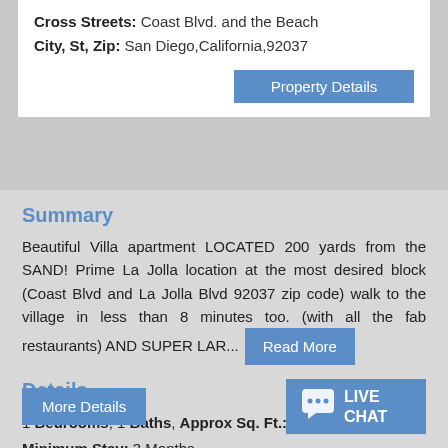Cross Streets: Coast Blvd. and the Beach
City, St, Zip: San Diego,California,92037
Property Details
Summary
Beautiful Villa apartment LOCATED 200 yards from the SAND! Prime La Jolla location at the most desired block (Coast Blvd and La Jolla Blvd 92037 zip code) walk to the village in less than 8 minutes too. (with all the fab restaurants) AND SUPER LAR... Read More
Details
1 Bedrooms, 1 Baths, Approx Sq. Ft.:820
Minimum Stay: 3 Months
Monthly Rate: $3995
More Details
LIVE CHAT